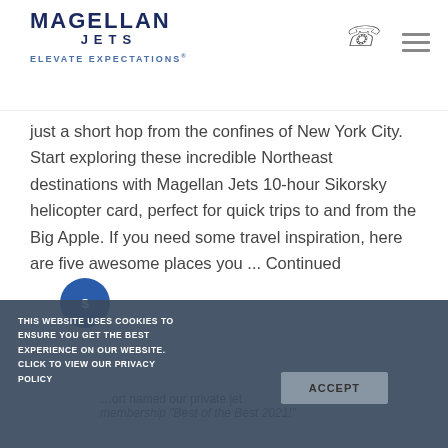[Figure (logo): Magellan Jets logo with ELEVATE EXPECTATIONS tagline]
just a short hop from the confines of New York City. Start exploring these incredible Northeast destinations with Magellan Jets 10-hour Sikorsky helicopter card, perfect for quick trips to and from the Big Apple. If you need some travel inspiration, here are five awesome places you ... Continued
[Figure (other): Partially visible article section with blue circular icon and text about private jet membership Best of the Best 2021]
THIS WEBSITE USES COOKIES TO ENSURE YOU GET THE BEST EXPERIENCE ON OUR WEBSITE. CLICK TO VIEW OUR PRIVACY POLICY
ACCEPT